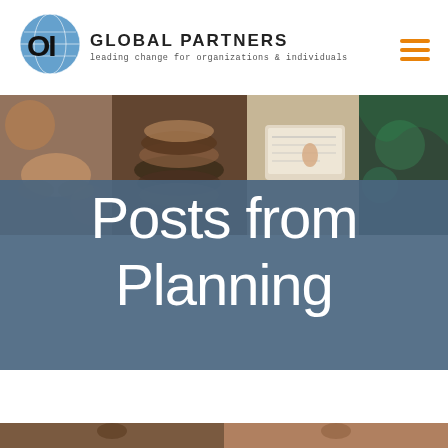[Figure (logo): OI Global Partners logo with globe icon, company name and tagline 'leading change for organizations & individuals']
[Figure (photo): Hero banner with four photo strips showing hands/people collaborating, overlaid with blue semi-transparent panel and large white text 'Posts from Planning']
Posts from Planning